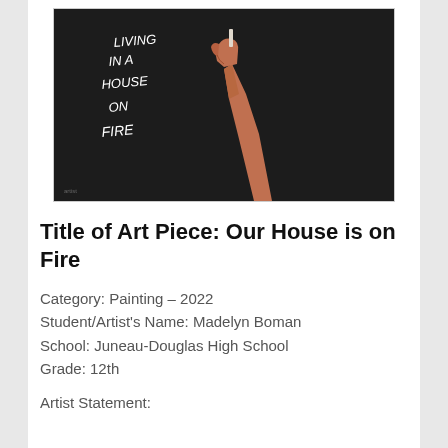[Figure (photo): A painting on a dark/black background showing a raised arm and hand holding a piece of chalk, writing text that reads 'LIVING IN A HOUSE ON FIRE' in white chalk-like lettering.]
Title of Art Piece: Our House is on Fire
Category: Painting – 2022
Student/Artist's Name: Madelyn Boman
School: Juneau-Douglas High School
Grade: 12th
Artist Statement: